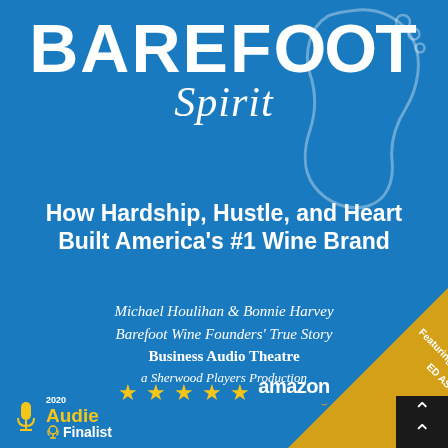[Figure (illustration): Book cover for 'Barefoot Spirit: How Hardship, Hustle, and Heart Built America's #1 Wine Brand' by Michael Houlihan and Bonnie Harvey. Blue background with white foot outline logo. Shows Amazon 5-star rating, 2020 Audie Finalist badge, and gold corner ribbon reading 'Featuring ED ASNER'. Business Audio Theatre, a Sherwood Players Production.]
BAREFOOT Spirit
How Hardship, Hustle, and Heart Built America's #1 Wine Brand
Michael Houlihan & Bonnie Harvey
Barefoot Wine Founders' True Story
Business Audio Theatre
a Sherwood Players Production
★★★★★ amazon
2020 Audie Finalist
Featuring ED ASNER